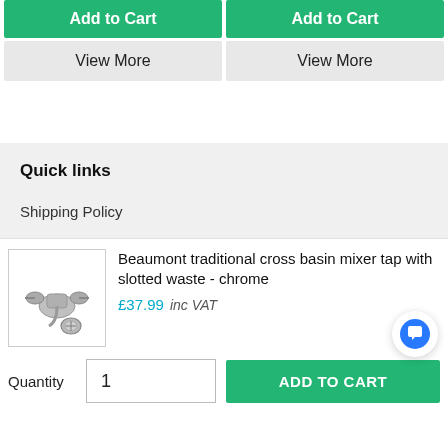Add to Cart (left button)
Add to Cart (right button)
View More (left button)
View More (right button)
Quick links
Shipping Policy
[Figure (photo): Product image of Beaumont traditional cross basin mixer tap with slotted waste in chrome]
Beaumont traditional cross basin mixer tap with slotted waste - chrome
£37.99  inc VAT
Quantity   1
ADD TO CART